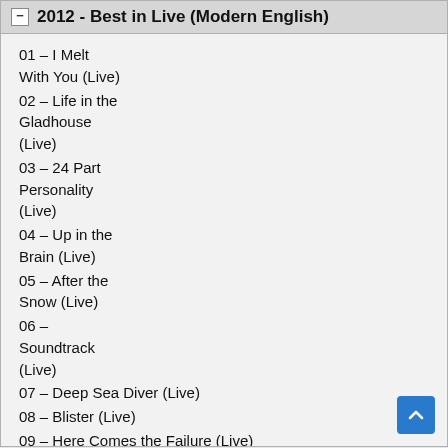2012 - Best in Live (Modern English)
01 – I Melt With You (Live)
02 – Life in the Gladhouse (Live)
03 – 24 Part Personality (Live)
04 – Up in the Brain (Live)
05 – After the Snow (Live)
06 – Soundtrack (Live)
07 – Deep Sea Diver (Live)
08 – Blister (Live)
09 – Here Comes the Failure (Live)
10 – It's Okay (Live)